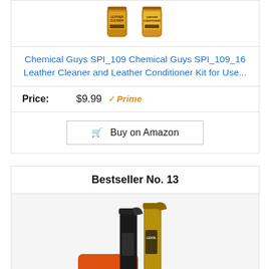[Figure (photo): Two Chemical Guys leather cleaner and conditioner bottles (amber/gold colored cans) shown at top of product card]
Chemical Guys SPI_109 Chemical Guys SPI_109_16 Leather Cleaner and Leather Conditioner Kit for Use...
Price: $9.99 ✓Prime
🛒 Buy on Amazon
Bestseller No. 13
[Figure (photo): Two Lexol spray bottles (black and gold) with an orange cloth, shown at the bottom of the page]